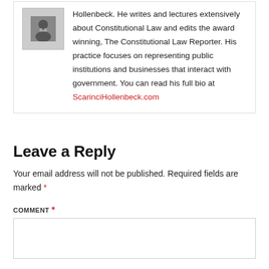Hollenbeck. He writes and lectures extensively about Constitutional Law and edits the award winning, The Constitutional Law Reporter. His practice focuses on representing public institutions and businesses that interact with government. You can read his full bio at ScarinciHollenbeck.com
Leave a Reply
Your email address will not be published. Required fields are marked *
COMMENT *